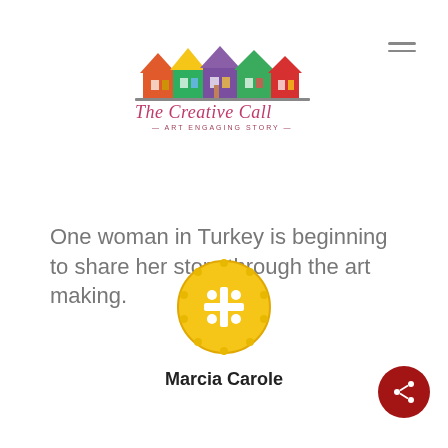[Figure (logo): The Creative Call logo with colorful illustrated row houses above the text 'The Creative Call — Art Engaging Story —']
One woman in Turkey is beginning to share her story through the art making.
[Figure (photo): Circular avatar image of Marcia Carole — yellow button-like circle with decorative white dots and cross pattern]
Marcia Carole